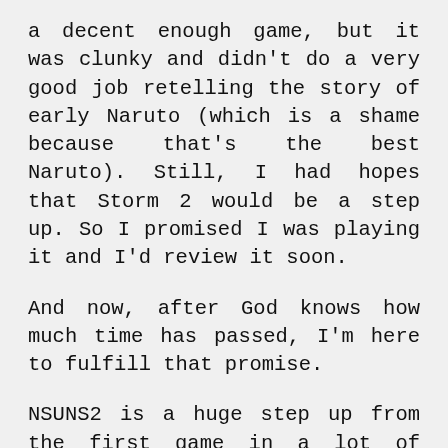a decent enough game, but it was clunky and didn't do a very good job retelling the story of early Naruto (which is a shame because that's the best Naruto). Still, I had hopes that Storm 2 would be a step up. So I promised I was playing it and I'd review it soon.
And now, after God knows how much time has passed, I'm here to fulfill that promise.
NSUNS2 is a huge step up from the first game in a lot of ways. It makes several improvements to the gameplay formula